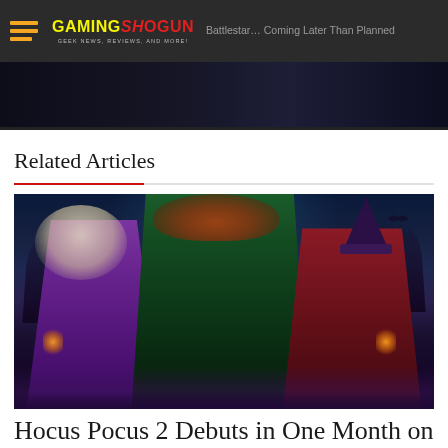GAMING SHOGUN — GEEK NEWS, REVIEWS, AND MORE! — Battlestar... Coming Later Than Planned
[Figure (photo): Partial top image strip showing a dark sci-fi or TV show promotional image, partially visible behind the navigation bar]
Related Articles
[Figure (photo): Hocus Pocus 2 movie promotional image showing three witches — one in purple on left with long blonde hair, one in green hooded cloak in center with curly red hair, one in dark red on right wearing a witch hat — against a spooky moonlit night background with lanterns]
Hocus Pocus 2 Debuts in One Month on